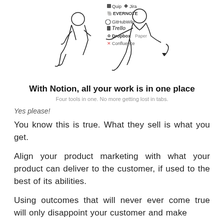[Figure (illustration): Line-art illustration of two people surrounded by floating app logos: Quip, Jira, Evernote, GitHub Wiki, Trello, Dropbox Paper, Confluence]
With Notion, all your work is in one place
Four tools in one. No more getting lost in tabs.
Yes please!
You know this is true. What they sell is what you get.
Align your product marketing with what your product can deliver to the customer, if used to the best of its abilities.
Using outcomes that will never ever come true will only disappoint your customer and make